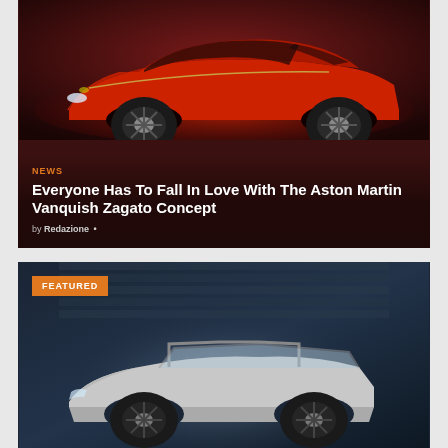[Figure (photo): Red Aston Martin Vanquish Zagato Concept car on dark reddish background]
NEWS
Everyone Has To Fall In Love With The Aston Martin Vanquish Zagato Concept
by Redazione •
[Figure (photo): White/silver convertible sports car on dark blue garage background with FEATURED badge]